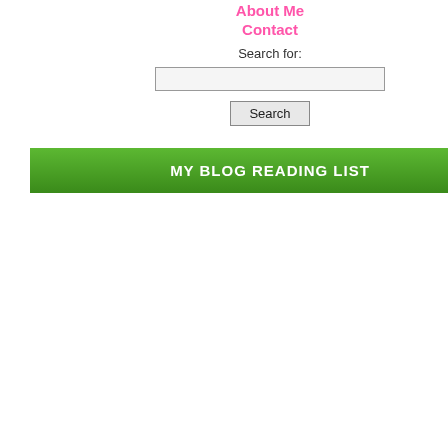About Me
Contact
Search for:
[Figure (photo): Photo 1 - partial view of an outdoor scene, top right area]
[Figure (photo): Photo 2 - colorful fabric/textile scene, right side middle]
My Taj Mahal box:
[Figure (photo): Photo 3 - partial view at bottom right, Taj Mahal box]